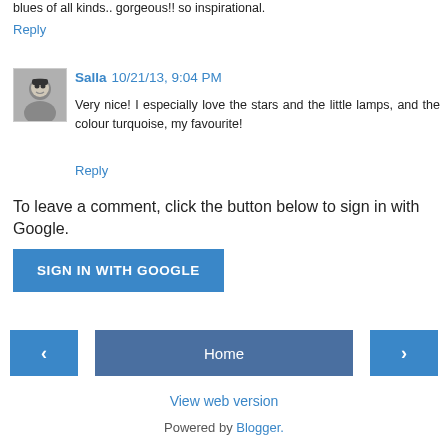blues of all kinds.. gorgeous!! so inspirational.
Reply
Salla 10/21/13, 9:04 PM
Very nice! I especially love the stars and the little lamps, and the colour turquoise, my favourite!
Reply
To leave a comment, click the button below to sign in with Google.
SIGN IN WITH GOOGLE
Home
View web version
Powered by Blogger.